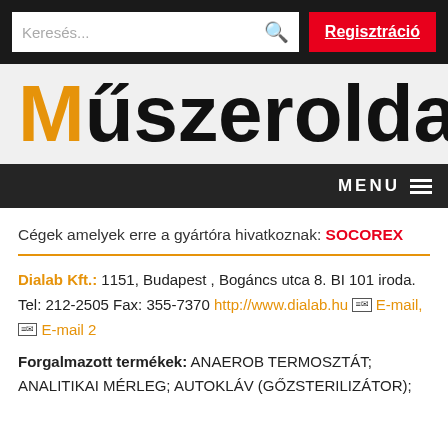Keresés... [search icon] | Regisztráció
Műszeroldal
MENU
Cégek amelyek erre a gyártóra hivatkoznak: SOCOREX
Dialab Kft.: 1151, Budapest , Bogáncs utca 8. BI 101 iroda. Tel: 212-2505 Fax: 355-7370 http://www.dialab.hu E-mail, E-mail 2
Forgalmazott termékek: ANAEROB TERMOSZTÁT; ANALITIKAI MÉRLEG; AUTOKLÁV (GŐZSTERILIZÁTOR);